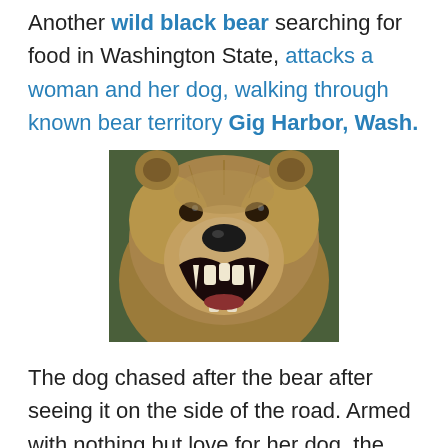Another wild black bear searching for food in Washington State, attacks a woman and her dog, walking through known bear territory Gig Harbor, Wash.
[Figure (photo): Close-up photo of a roaring brown/grizzly bear with mouth wide open showing teeth, furry face filling the frame]
The dog chased after the bear after seeing it on the side of the road. Armed with nothing but love for her dog, the woman stepped in between the dog and bear to protect the dog, the bear attacked her!(Source)
The victim was later found on the side of the road badly